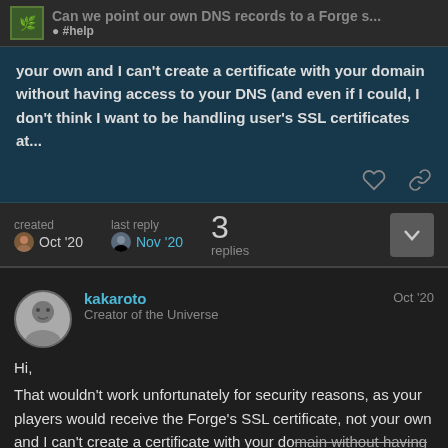Can we point our own DNS records to a Forge s... #help
your own and I can't create a certificate with your domain without having access to your DNS (and even if I could, I don't think I want to be handling user's SSL certificates at...
created Oct '20  last reply Nov '20  3 replies
kakaroto  Creator of the Universe  Oct '20
Hi,
That wouldn't work unfortunately for security reasons, as your players would receive the Forge's SSL certificate, not your own and I can't create a certificate with your domain without having access to your DNS (and even if I could, I
be handling user's SSL certificates at this p
1 / 4